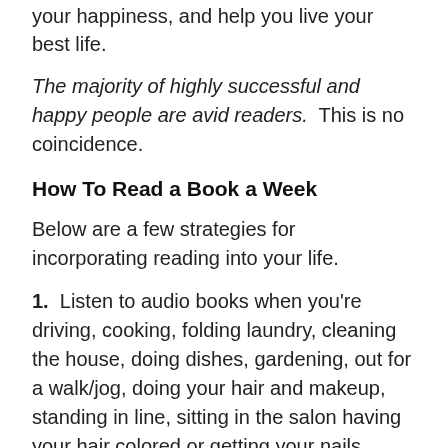your happiness, and help you live your best life.
The majority of highly successful and happy people are avid readers.  This is no coincidence.
How To Read a Book a Week
Below are a few strategies for incorporating reading into your life.
1.  Listen to audio books when you're driving, cooking, folding laundry, cleaning the house, doing dishes, gardening, out for a walk/jog, doing your hair and makeup, standing in line, sitting in the salon having your hair colored or getting your nails done, when you're on the treadmill, on airplanes and in airports, and